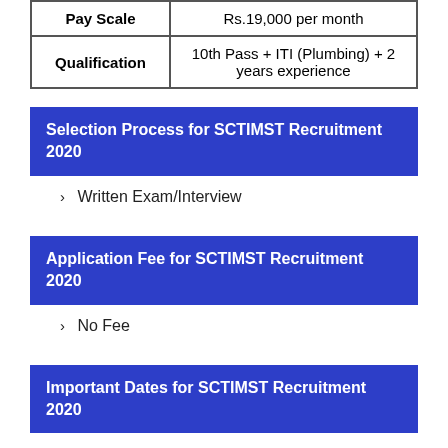| Pay Scale | Rs.19,000 per month |
| Qualification | 10th Pass + ITI (Plumbing) + 2 years experience |
Selection Process for SCTIMST Recruitment 2020
Written Exam/Interview
Application Fee for SCTIMST Recruitment 2020
No Fee
Important Dates for SCTIMST Recruitment 2020